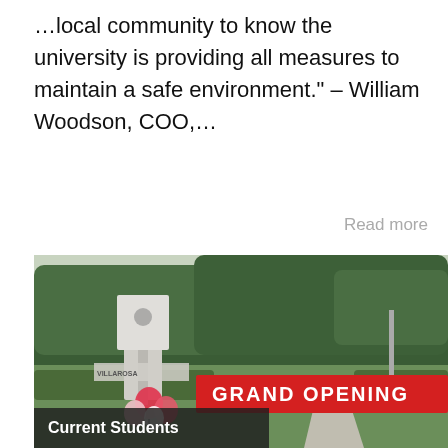…local community to know the university is providing all measures to maintain a safe environment." – William Woodson, COO,…
Read more
[Figure (photo): Outdoor photo of a university entrance with a monument sign reading 'GRAND OPENING' on a red banner, balloons in the foreground, trees in the background, and a walkway.]
Current Students